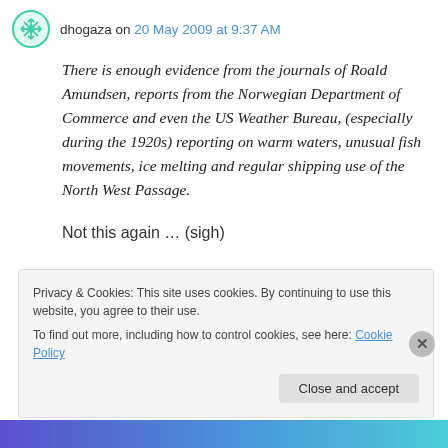dhogaza on 20 May 2009 at 9:37 AM
There is enough evidence from the journals of Roald Amundsen, reports from the Norwegian Department of Commerce and even the US Weather Bureau, (especially during the 1920s) reporting on warm waters, unusual fish movements, ice melting and regular shipping use of the North West Passage.
Not this again … (sigh)
Privacy & Cookies: This site uses cookies. By continuing to use this website, you agree to their use.
To find out more, including how to control cookies, see here: Cookie Policy